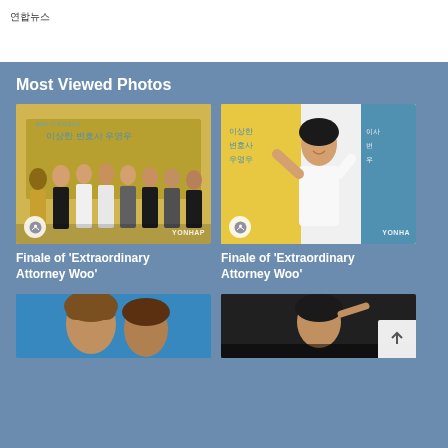연합뉴스
Most Viewed Photos
[Figure (photo): Group cast photo at Finale of Extraordinary Attorney Woo press event, ENA channel backdrop]
Finale of 'Extraordinary Attorney Woo'
[Figure (photo): Solo actress smiling and waving at Finale of Extraordinary Attorney Woo press event]
Finale of 'Extraordinary Attorney Woo'
[Figure (photo): Man with curly hair, blue background]
[Figure (photo): Woman at event, dark background]